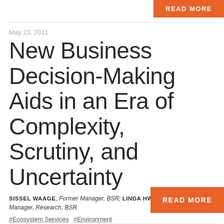READ MORE
May 23, 2011
New Business Decision-Making Aids in an Era of Complexity, Scrutiny, and Uncertainty
SISSEL WAAGE, Former Manager, BSR; LINDA HWANG, Former Manager, Research, BSR
#Ecosystem Services #Environment
READ MORE